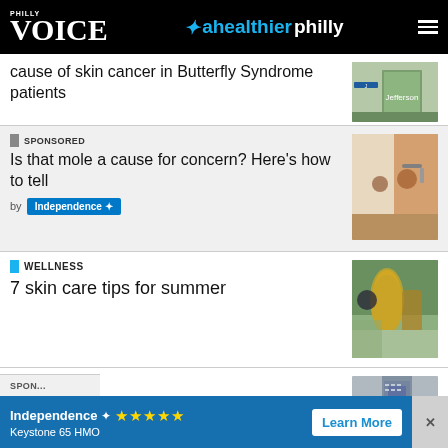Philly Voice — a healthier philly
cause of skin cancer in Butterfly Syndrome patients
SPONSORED
Is that mole a cause for concern? Here's how to tell
by Independence
WELLNESS
7 skin care tips for summer
CANCER
New Penn research could be hopeful discovery for melanoma patients
[Figure (screenshot): Advertisement banner for Independence Blue Cross Keystone 65 HMO with star rating and Learn More button]